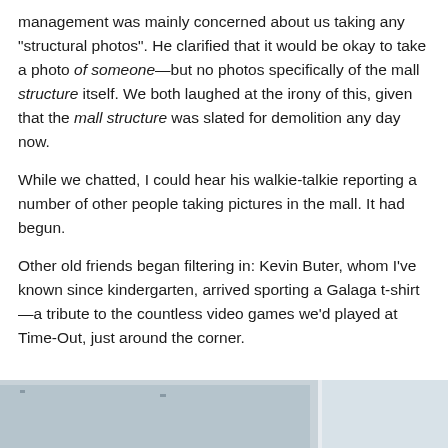management was mainly concerned about us taking any “structural photos”. He clarified that it would be okay to take a photo of someone—but no photos specifically of the mall structure itself. We both laughed at the irony of this, given that the mall structure was slated for demolition any day now.
While we chatted, I could hear his walkie-talkie reporting a number of other people taking pictures in the mall. It had begun.
Other old friends began filtering in: Kevin Buter, whom I’ve known since kindergarten, arrived sporting a Galaga t-shirt—a tribute to the countless video games we’d played at Time-Out, just around the corner.
[Figure (photo): Partial view of a ceiling or interior architectural space, light grey and white tones, bottom portion of the page]